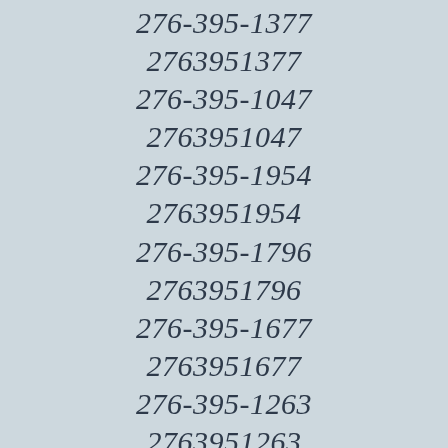276-395-1377
2763951377
276-395-1047
2763951047
276-395-1954
2763951954
276-395-1796
2763951796
276-395-1677
2763951677
276-395-1263
2763951263
276-395-1139
2763951139
276-395-1518
2763951518